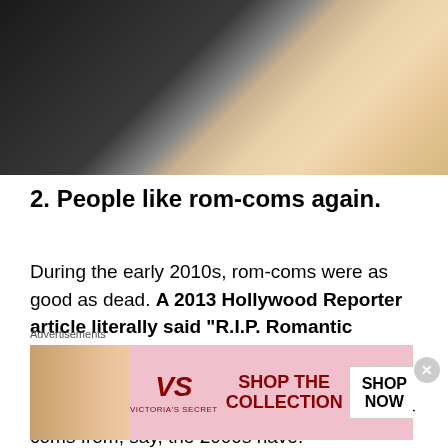[Figure (photo): Photo of a man in a dark suit and a woman in a sequined/beaded gold dress at what appears to be a formal event or premiere]
2. People like rom-coms again.
During the early 2010s, rom-coms were as good as dead. A 2013 Hollywood Reporter article literally said “R.I.P. Romantic Comedies”. Sure, studios were still making them, but there are few 2010-2015 rom-coms that have reached classic status the way rom-coms from, say, the 2000s have.
Advertisements
[Figure (advertisement): Victoria's Secret advertisement with model, VS logo, text 'SHOP THE COLLECTION' and 'SHOP NOW' button on pink background]